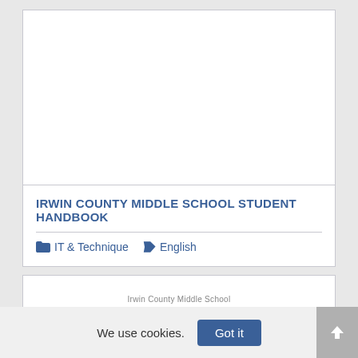[Figure (other): Large white blank image area at the top of a document card]
IRWIN COUNTY MIDDLE SCHOOL STUDENT HANDBOOK
IT & Technique   English
[Figure (other): Second document card preview showing text: Irwin County Middle School]
We use cookies.  Got it